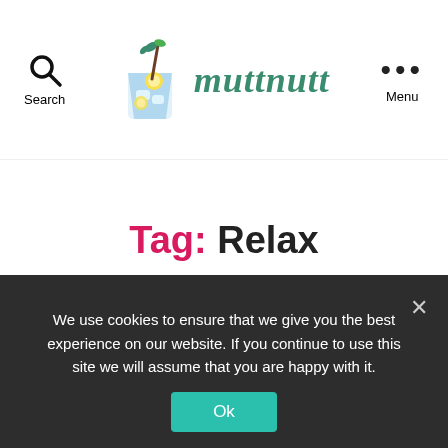Search | muttnutt | Menu
Tag: Relax
MOCKTAIL
Time to Relax in Your
We use cookies to ensure that we give you the best experience on our website. If you continue to use this site we will assume that you are happy with it.